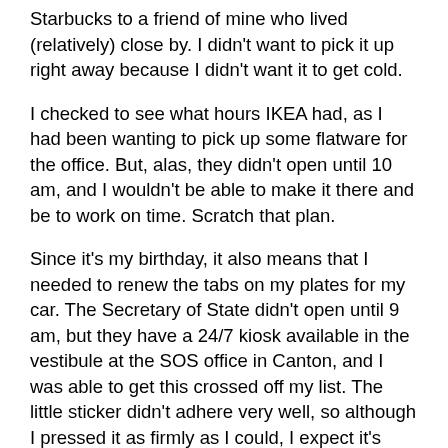Starbucks to a friend of mine who lived (relatively) close by. I didn't want to pick it up right away because I didn't want it to get cold.
I checked to see what hours IKEA had, as I had been wanting to pick up some flatware for the office. But, alas, they didn't open until 10 am, and I wouldn't be able to make it there and be to work on time. Scratch that plan.
Since it's my birthday, it also means that I needed to renew the tabs on my plates for my car. The Secretary of State didn't open until 9 am, but they have a 24/7 kiosk available in the vestibule at the SOS office in Canton, and I was able to get this crossed off my list. The little sticker didn't adhere very well, so although I pressed it as firmly as I could, I expect it's going to fall off shortly. Nertz.
Now for the second stop to the second Starbucks of the day! It hadn't been an hour yet since my other Starbucks